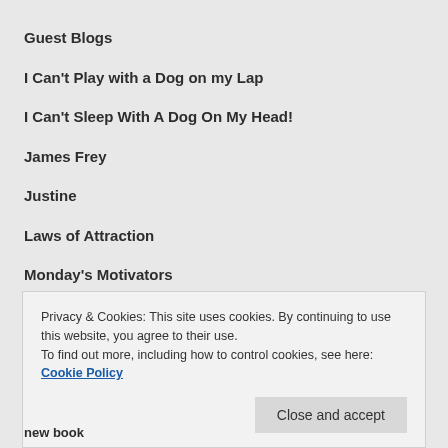Guest Blogs
I Can't Play with a Dog on my Lap
I Can't Sleep With A Dog On My Head!
James Frey
Justine
Laws of Attraction
Monday's Motivators
Privacy & Cookies: This site uses cookies. By continuing to use this website, you agree to their use.
To find out more, including how to control cookies, see here: Cookie Policy
Close and accept
new book